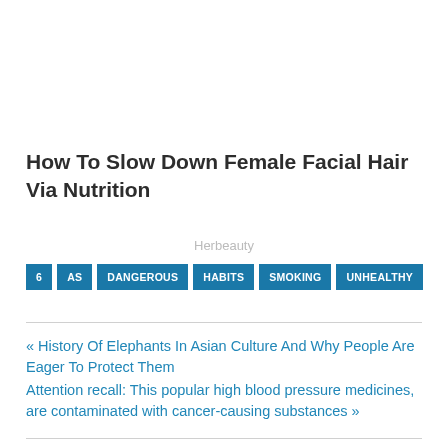How To Slow Down Female Facial Hair Via Nutrition
Herbeauty
6
AS
DANGEROUS
HABITS
SMOKING
UNHEALTHY
« History Of Elephants In Asian Culture And Why People Are Eager To Protect Them
Attention recall: This popular high blood pressure medicines, are contaminated with cancer-causing substances »